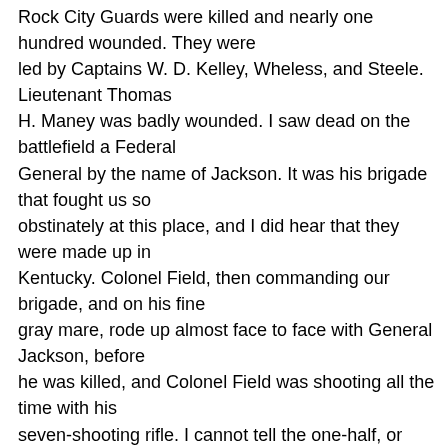Rock City Guards were killed and nearly one hundred wounded. They were led by Captains W. D. Kelley, Wheless, and Steele. Lieutenant Thomas H. Maney was badly wounded. I saw dead on the battlefield a Federal General by the name of Jackson. It was his brigade that fought us so obstinately at this place, and I did hear that they were made up in Kentucky. Colonel Field, then commanding our brigade, and on his fine gray mare, rode up almost face to face with General Jackson, before he was killed, and Colonel Field was shooting all the time with his seven-shooting rifle. I cannot tell the one-half, or even remember at this late date, the scenes of blood and suffering that I witnessed on the battlefield of Perryville. But its history, like all the balance, has gone into the history of the war, and it has been twenty years ago, and I write entirely from memory. I remember Lieutenant Joe R. b...